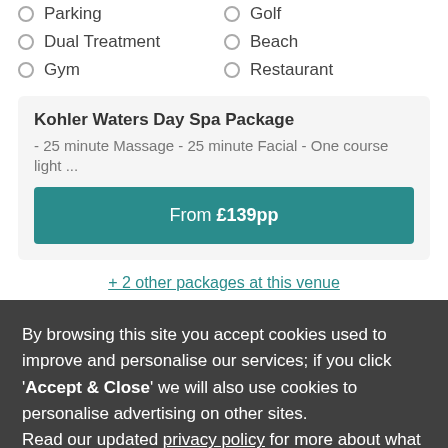Parking
Golf
Dual Treatment
Beach
Gym
Restaurant
Kohler Waters Day Spa Package
- 25 minute Massage - 25 minute Facial - One course light ...
From £139pp
+ 2 other packages at this venue
By browsing this site you accept cookies used to improve and personalise our services; if you click 'Accept & Close' we will also use cookies to personalise advertising on other sites.
Read our updated privacy policy for more about what we do with your data, as well as your rights and choices.
Accept & close
Live Chat
Reject personalised marketing